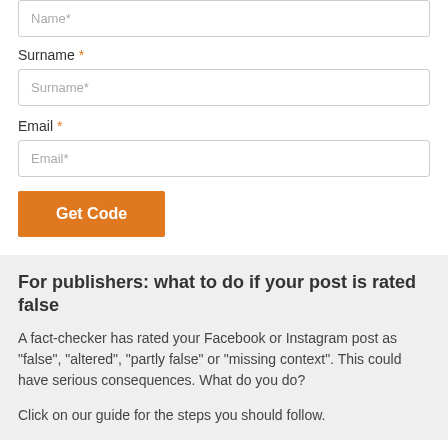Name*
Surname *
Surname*
Email *
Email*
Get Code
For publishers: what to do if your post is rated false
A fact-checker has rated your Facebook or Instagram post as “false”, “altered”, “partly false” or “missing context”. This could have serious consequences. What do you do?
Click on our guide for the steps you should follow.